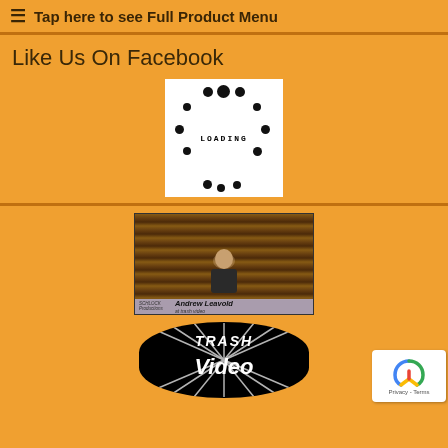☰ Tap here to see Full Product Menu
Like Us On Facebook
[Figure (other): Loading spinner animation - white box with dots arranged in circle and text 'LOADING' in center]
[Figure (screenshot): Video thumbnail showing Andrew Leavold at Trash Video, man sitting in front of shelves of VHS tapes, with Schlock Productions logo and name overlay at bottom]
[Figure (logo): Trash Video circular logo in black and white]